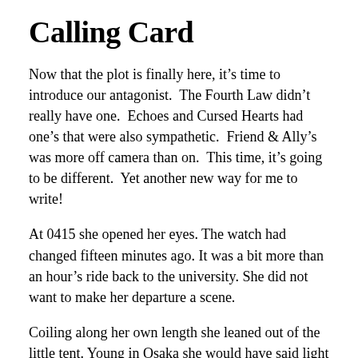Calling Card
Now that the plot is finally here, it's time to introduce our antagonist.  The Fourth Law didn't really have one.  Echoes and Cursed Hearts had one's that were also sympathetic.  Friend & Ally's was more off camera than on.  This time, it's going to be different.  Yet another new way for me to write!
At 0415 she opened her eyes. The watch had changed fifteen minutes ago. It was a bit more than an hour's ride back to the university. She did not want to make her departure a scene.
Coiling along her own length she leaned out of the little tent. Young in Osaka she would have said light rain. Now, it was an unimportant mist. She